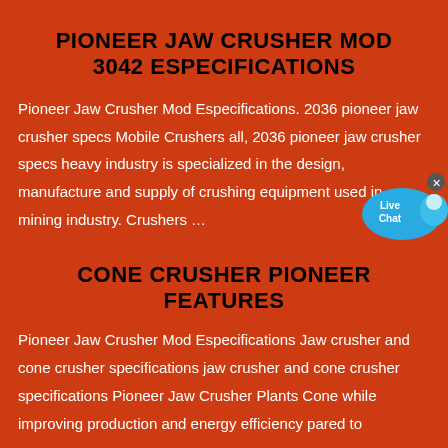PIONEER JAW CRUSHER MOD 3042 ESPECIFICATIONS
Pioneer Jaw Crusher Mod Especifications. 2036 pioneer jaw crusher specs Mobile Crushers all, 2036 pioneer jaw crusher specs heavy industry is specialized in the design, manufacture and supply of crushing equipment used in mining industry. Crushers …
CONE CRUSHER PIONEER FEATURES
Pioneer Jaw Crusher Mod Especifications Jaw crusher and cone crusher specifications jaw crusher and cone crusher specifications Pioneer Jaw Crusher Plants Cone while improving production and energy efficiency pared to